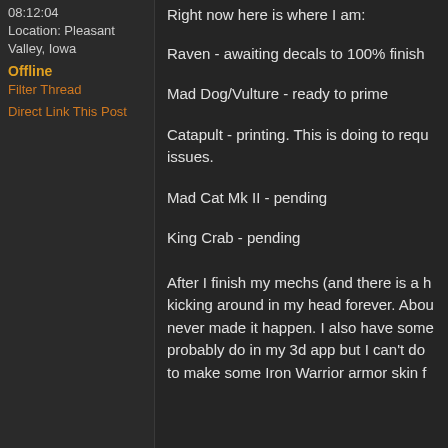08:12:04
Location: Pleasant Valley, Iowa
Offline
Filter Thread
Direct Link This Post
Right now here is where I am:
Raven - awaiting decals to 100% finish
Mad Dog/Vulture - ready to prime
Catapult - printing. This is doing to requ... issues.
Mad Cat Mk II - pending
King Crab - pending
After I finish my mechs (and there is a h... kicking around in my head forever. Abou... never made it happen. I also have some... probably do in my 3d app but I can't do... to make some Iron Warrior armor skin f...